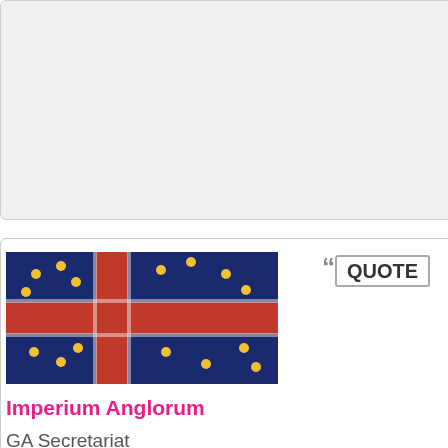[Figure (screenshot): Top forum post box with right-side navigation links in blue and green, and an arrow icon]
Me
of
the
The
LCR
[Figure (illustration): Flag of Imperium Anglorum: dark blue background with red Nordic cross and golden stars]
Imperium Anglorum
GA Secretariat
Posts: 11600
Founded: Aug 26, 2013
Left-Leaning College State
QUOTE
by
Imperium Anglorum
»
Wed Jun 08, 2016 1:57 pm
C
y
d
k
Us
'wo
no